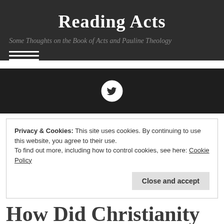Reading Acts
Some Thoughts on the Book of Acts and Pauline Theology
Privacy & Cookies: This site uses cookies. By continuing to use this website, you agree to their use.
To find out more, including how to control cookies, see here: Cookie Policy
Close and accept
How Did Christianity Come to Rome?